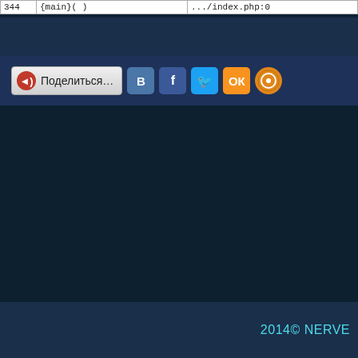|  |  |  |
| --- | --- | --- |
| 344 | {main}( ) | .../index.php:0 |
[Figure (screenshot): Social sharing bar with Поделиться... button and social media icons: VK, Facebook, Twitter, Odnoklassniki, Mail]
2014© NERVE